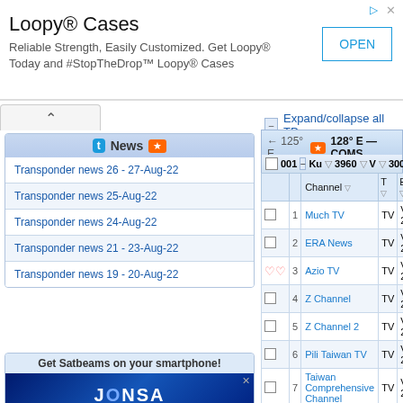[Figure (screenshot): Advertisement banner for Loopy Cases with OPEN button]
Loopy® Cases
Reliable Strength, Easily Customized. Get Loopy® Today and #StopTheDrop™ Loopy® Cases
Transponder news 26 - 27-Aug-22
Transponder news 25-Aug-22
Transponder news 24-Aug-22
Transponder news 21 - 23-Aug-22
Transponder news 19 - 20-Aug-22
Get Satbeams on your smartphone!
Expand/collapse all TPs
← 125° E
128° E — COMS
001 Ku 3960 V 30000 5/6
|  | Channel | T | Encryption |
| --- | --- | --- | --- |
| 1 | Much TV | TV | Viaccess 2.5 |
| 2 | ERA News | TV | Viaccess 2.5 |
| 3 | Azio TV | TV | Viaccess 2.5 |
| 4 | Z Channel | TV | Viaccess 2.5 |
| 5 | Z Channel 2 | TV | Viaccess 2.5 |
| 6 | Pili Taiwan TV | TV | Viaccess 2.5 |
| 7 | Taiwan Comprehensive Channel | TV | Viaccess 2.5 |
| 8 | CTI TV Asia | TV | Viaccess 2.5 |